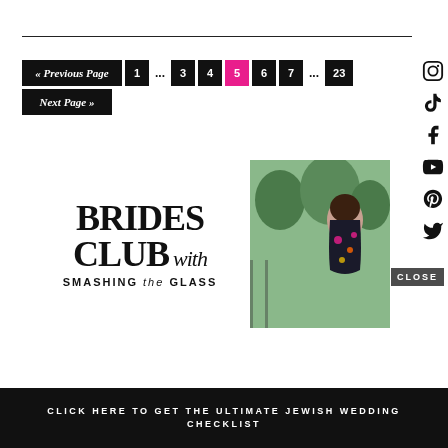« Previous Page  1  ...  3  4  5  6  7  ...  23  Next Page »
[Figure (screenshot): Brides Club with Smashing the Glass promotional banner with woman in floral dress]
CLOSE
CLICK HERE TO GET THE ULTIMATE JEWISH WEDDING CHECKLIST